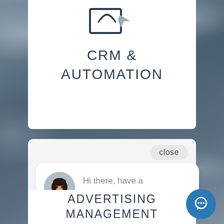[Figure (screenshot): Screenshot of a website interface showing CRM & Automation section at top and Advertising Management section at bottom, with a live chat popup widget in the middle showing a woman avatar and message 'Hi there, have a question? Text us here.' on a cloudy background]
CRM &
AUTOMATION
close
Hi there, have a question? Text us here.
ADVERTISING
MANAGEMENT